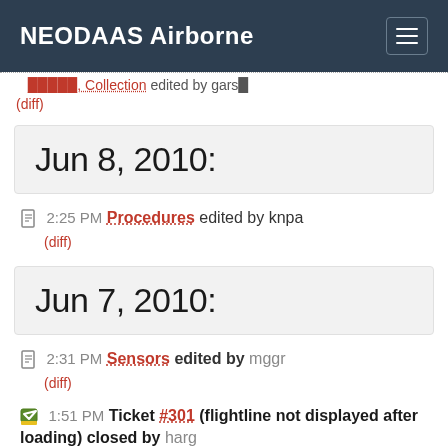NEODAAS Airborne
(diff)
Jun 8, 2010:
2:25 PM Procedures edited by knpa
(diff)
Jun 7, 2010:
2:31 PM Sensors edited by mggr
(diff)
1:51 PM Ticket #301 (flightline not displayed after loading) closed by harg
fixed: FIXED. Finally. As a by-product of other